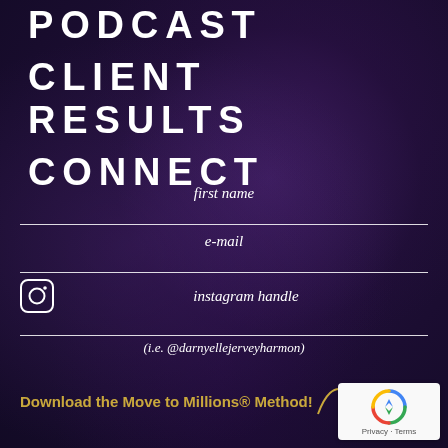PODCAST
CLIENT RESULTS
CONNECT
first name
e-mail
instagram handle
(i.e. @darnyellejerveyharmon)
Download the Move to Millions® Method!
[Figure (logo): reCAPTCHA widget with Privacy and Terms text]